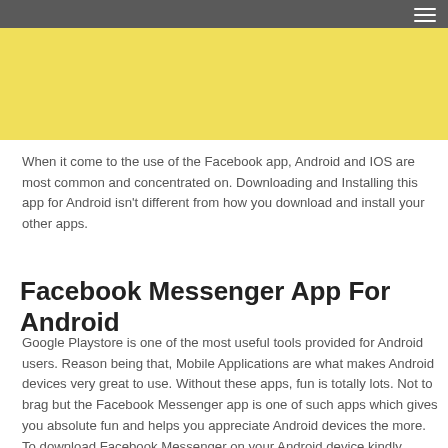[Figure (other): Dark grey navigation header bar with hamburger menu icon (three white lines) in the top right corner]
[Figure (other): Yellow/light gold colored banner rectangle below the header bar]
When it come to the use of the Facebook app, Android and IOS are most common and concentrated on. Downloading and Installing this app for Android isn't different from how you download and install your other apps.
Facebook Messenger App For Android
Google Playstore is one of the most useful tools provided for Android users. Reason being that, Mobile Applications are what makes Android devices very great to use. Without these apps, fun is totally lots. Not to brag but the Facebook Messenger app is one of such apps which gives you absolute fun and helps you appreciate Android devices the more. To download Facebook Messenger on your Android device kindly follow these steps: